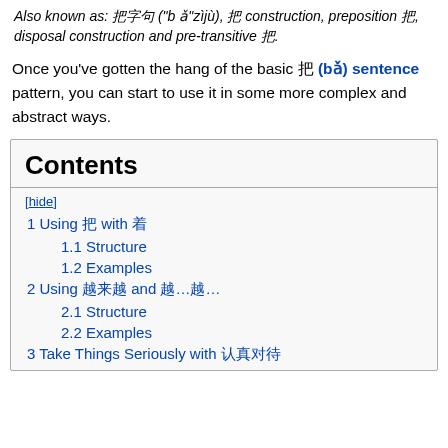Also known as: 把字句 ("bǎ"zìjù), 把 construction, preposition 把, disposal construction and pre-transitive 把.
Once you've gotten the hang of the basic 把 (bǎ) sentence pattern, you can start to use it in some more complex and abstract ways.
Contents
[hide]
1 Using 把 with 着
1.1 Structure
1.2 Examples
2 Using 越来越 and 越…越…
2.1 Structure
2.2 Examples
3 Take Things Seriously with 认真对待